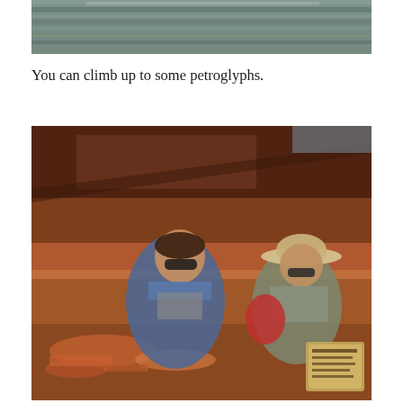[Figure (photo): Top portion of a photo showing a river or lake with brown/murky water and reflections, likely a desert river scene.]
You can climb up to some petroglyphs.
[Figure (photo): Two people posing in front of a large red sandstone rock face with petroglyphs. A woman wearing sunglasses and a blue plaid shirt is in the foreground smiling. A man wearing a wide-brimmed hat and sunglasses sits behind her. Red rock formations and a sign are visible in the background.]